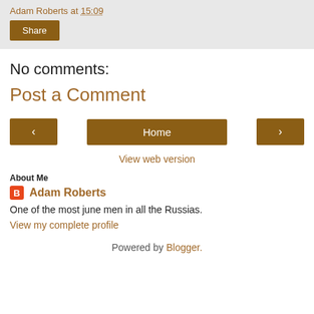Adam Roberts at 15:09
Share
No comments:
Post a Comment
< Home >
View web version
About Me
Adam Roberts
One of the most june men in all the Russias.
View my complete profile
Powered by Blogger.